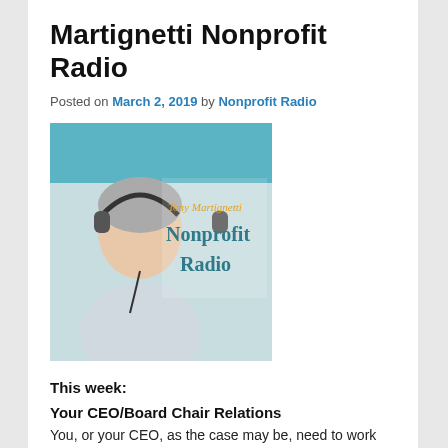Martignetti Nonprofit Radio
Posted on March 2, 2019 by Nonprofit Radio
[Figure (photo): Tony Martignetti Nonprofit Radio podcast cover image showing a man wearing headphones with text 'Tony Martignetti Nonprofit Radio']
This week:
Your CEO/Board Chair Relations
You, or your CEO, as the case may be, need to work together with your board chair toward an aligned vision. How do you establish it and what if it gets blurry? Aisha Nyandoro shepherds us through CEO/board chair and full board relations, as in recruiting, onboarding, engaging